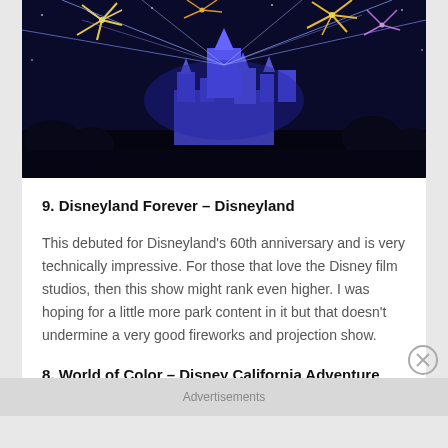[Figure (photo): Nighttime fireworks and light show over a blue-lit castle (Disneyland) with colorful fireworks and laser beams in the dark sky]
9. Disneyland Forever – Disneyland
This debuted for Disneyland's 60th anniversary and is very technically impressive. For those that love the Disney film studios, then this show might rank even higher. I was hoping for a little more park content in it but that doesn't undermine a very good fireworks and projection show.
8. World of Color – Disney California Adventure
Advertisements